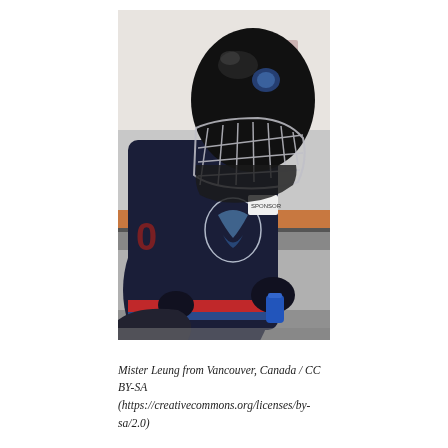[Figure (photo): A hockey goalie wearing a dark navy blue jersey with a team logo, a black goalie helmet with cage/mask, looking downward. The player is seated near the boards. A wooden bench and blue water bottle are visible in the background. The setting is an ice hockey arena.]
Mister Leung from Vancouver, Canada / CC BY-SA (https://creativecommons.org/licenses/by-sa/2.0)